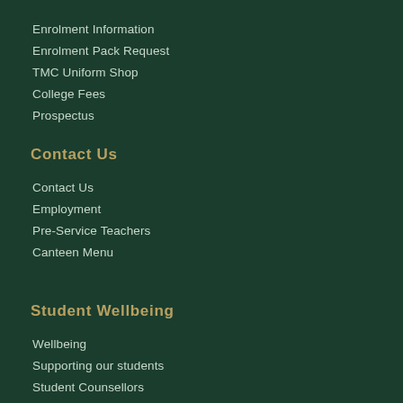Enrolment Information
Enrolment Pack Request
TMC Uniform Shop
College Fees
Prospectus
Contact Us
Contact Us
Employment
Pre-Service Teachers
Canteen Menu
Student Wellbeing
Wellbeing
Supporting our students
Student Counsellors
Policies
Privacy Policy